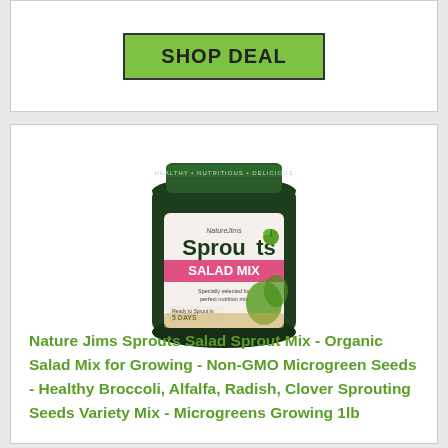[Figure (other): Green 'SHOP DEAL' button with black border on white card background]
[Figure (photo): Nature Jims Sprouts Salad Mix product bag - dark green resealable bag with pink 'SALAD MIX' label, sprout imagery, text reading 'HEALTHY • NUTRITIOUS • DELICIOUS' at top]
Nature Jims Sprouts Salad Sprout Mix - Organic Salad Mix for Growing - Non-GMO Microgreen Seeds - Healthy Broccoli, Alfalfa, Radish, Clover Sprouting Seeds Variety Mix - Microgreens Growing 1lb